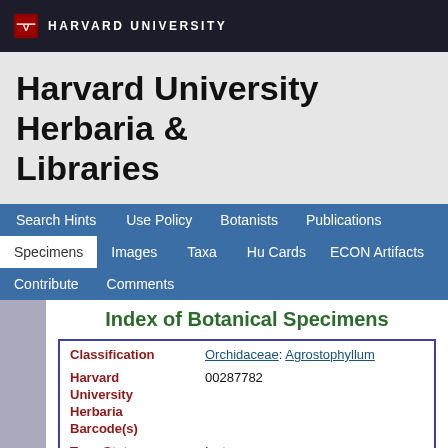HARVARD UNIVERSITY
Harvard University Herbaria & Libraries
Search Hints | Use Policy | Botanists | Publications | Specimens | Images | Taxa | Hu Cards | ECON Artifacts | Contribute | Comments
Index of Botanical Specimens
| Field | Value |
| --- | --- |
| Classification | Orchidaceae: Agrostophyllum |
| Harvard University Herbaria Barcode(s) | 00287782 |
| Type Status | Isotype |
| Collector | W. R. Barker |
| Collector number | LAE 66851 |
| Country | Papua New Guinea |